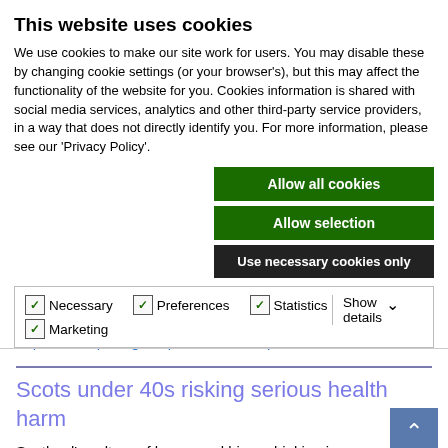This website uses cookies
We use cookies to make our site work for users. You may disable these by changing cookie settings (or your browser's), but this may affect the functionality of the website for you. Cookies information is shared with social media services, analytics and other third-party service providers, in a way that does not directly identify you. For more information, please see our 'Privacy Policy'.
Allow all cookies
Allow selection
Use necessary cookies only
Necessary   Preferences   Statistics   Marketing   Show details
January 2010, can be downloaded at:
http://www.cph.org.uk/ publications.aspx
Scots under 40s risking serious health harm
Scotland's culture of heavy and binge drinking is